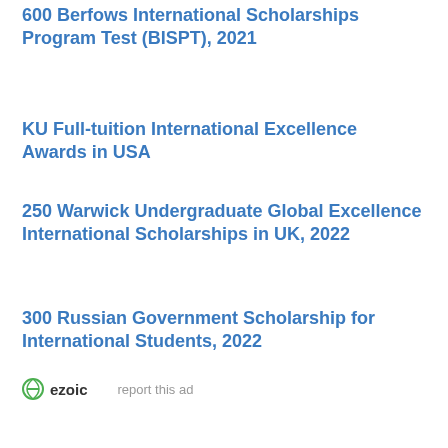600 Berfows International Scholarships Program Test (BISPT), 2021
KU Full-tuition International Excellence Awards in USA
250 Warwick Undergraduate Global Excellence International Scholarships in UK, 2022
300 Russian Government Scholarship for International Students, 2022
[Figure (logo): Ezoic ad network logo with 'report this ad' text]